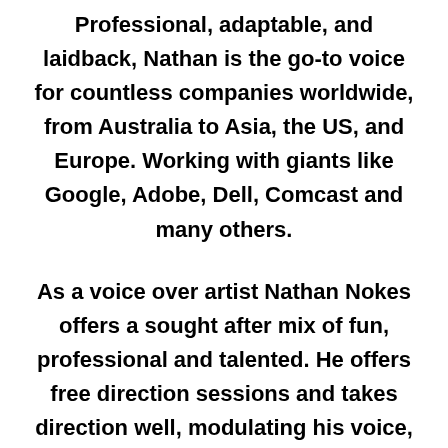Professional, adaptable, and laidback, Nathan is the go-to voice for countless companies worldwide, from Australia to Asia, the US, and Europe. Working with giants like Google, Adobe, Dell, Comcast and many others.
As a voice over artist Nathan Nokes offers a sought after mix of fun, professional and talented. He offers free direction sessions and takes direction well, modulating his voice, adjusting the character, and aiming to over deliver every time.